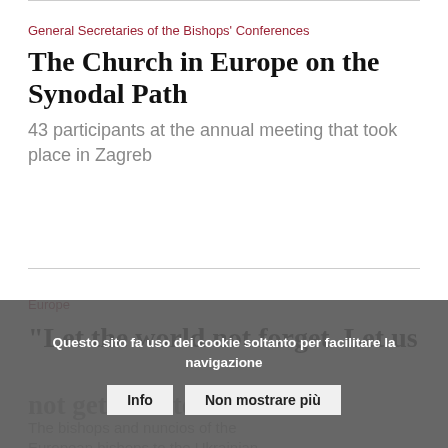General Secretaries of the Bishops' Conferences
The Church in Europe on the Synodal Path
43 participants at the annual meeting that took place in Zagreb
Europe
“Let the world not forget. Let us not get used to war”
The bishops and nuncios of the European bishops to the Ukrainian people
Questo sito fa uso dei cookie soltanto per facilitare la navigazione